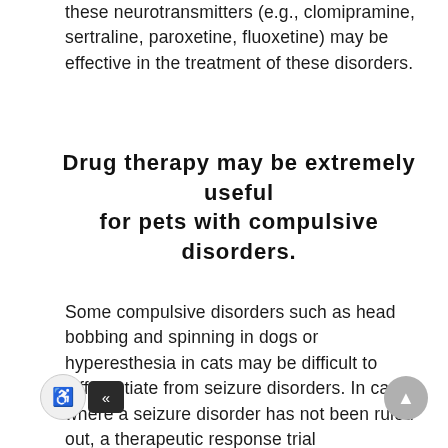these neurotransmitters (e.g., clomipramine, sertraline, paroxetine, fluoxetine) may be effective in the treatment of these disorders.
Drug therapy may be extremely useful for pets with compulsive disorders.
Some compulsive disorders such as head bobbing and spinning in dogs or hyperesthesia in cats may be difficult to differentiate from seizure disorders. In cases where a seizure disorder has not been ruled out, a therapeutic response trial